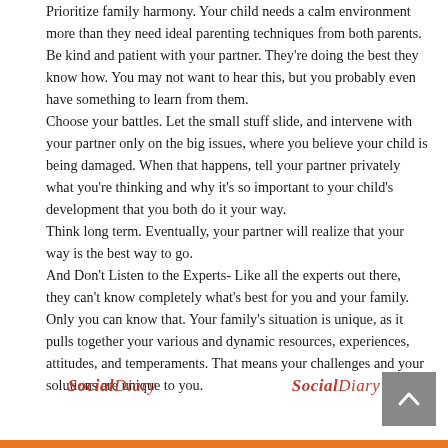Prioritize family harmony. Your child needs a calm environment more than they need ideal parenting techniques from both parents.
Be kind and patient with your partner. They're doing the best they know how. You may not want to hear this, but you probably even have something to learn from them.
Choose your battles. Let the small stuff slide, and intervene with your partner only on the big issues, where you believe your child is being damaged. When that happens, tell your partner privately what you're thinking and why it's so important to your child's development that you both do it your way.
Think long term. Eventually, your partner will realize that your way is the best way to go.
And Don't Listen to the Experts- Like all the experts out there, they can't know completely what's best for you and your family. Only you can know that. Your family's situation is unique, as it pulls together your various and dynamic resources, experiences, attitudes, and temperaments. That means your challenges and your solutions are unique to you.
Social Diary   Social Diary